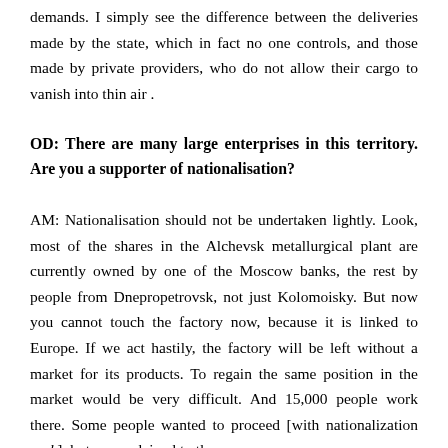demands. I simply see the difference between the deliveries made by the state, which in fact no one controls, and those made by private providers, who do not allow their cargo to vanish into thin air .
OD: There are many large enterprises in this territory. Are you a supporter of nationalisation?
AM: Nationalisation should not be undertaken lightly. Look, most of the shares in the Alchevsk metallurgical plant are currently owned by one of the Moscow banks, the rest by people from Dnepropetrovsk, not just Kolomoisky. But now you cannot touch the factory now, because it is linked to Europe. If we act hastily, the factory will be left without a market for its products. To regain the same position in the market would be very difficult. And 15,000 people work there. Some people wanted to proceed [with nationalization −ed.], but we explained to them